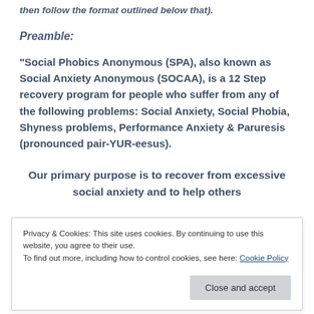then follow the format outlined below that).
Preamble:
“Social Phobics Anonymous (SPA), also known as Social Anxiety Anonymous (SOCAA), is a 12 Step recovery program for people who suffer from any of the following problems: Social Anxiety, Social Phobia, Shyness problems, Performance Anxiety & Paruresis (pronounced pair-YUR-eesus).
Our primary purpose is to recover from excessive social anxiety and to help others
Privacy & Cookies: This site uses cookies. By continuing to use this website, you agree to their use.
To find out more, including how to control cookies, see here: Cookie Policy
In SPA it is suggested that we do our best to